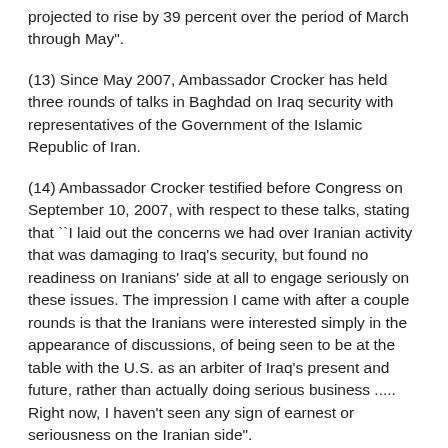projected to rise by 39 percent over the period of March through May".
(13) Since May 2007, Ambassador Crocker has held three rounds of talks in Baghdad on Iraq security with representatives of the Government of the Islamic Republic of Iran.
(14) Ambassador Crocker testified before Congress on September 10, 2007, with respect to these talks, stating that ``I laid out the concerns we had over Iranian activity that was damaging to Iraq's security, but found no readiness on Iranians' side at all to engage seriously on these issues. The impression I came with after a couple rounds is that the Iranians were interested simply in the appearance of discussions, of being seen to be at the table with the U.S. as an arbiter of Iraq's present and future, rather than actually doing serious business ..... Right now, I haven't seen any sign of earnest or seriousness on the Iranian side".
(15) Ambassador Crocker testified before Congress on September 11, 2007, stating that ``[w]e have seen nothing